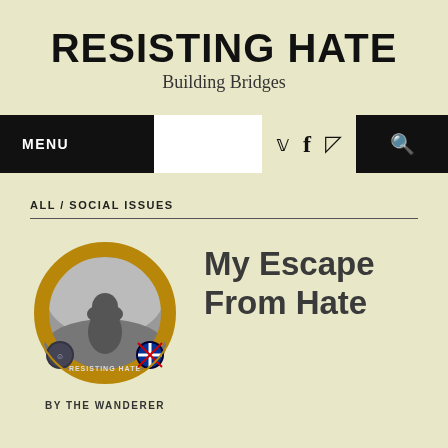RESISTING HATE
Building Bridges
MENU
ALL / SOCIAL ISSUES
[Figure (logo): Circular logo image showing a hooded figure from behind in grayscale, with a gold ring border, small circular emblems at the bottom-left and bottom-right (one showing a stylized face, one showing a Union Jack), and 'RESISTING HATE' text at the bottom of the circle.]
BY THE WANDERER
My Escape From Hate